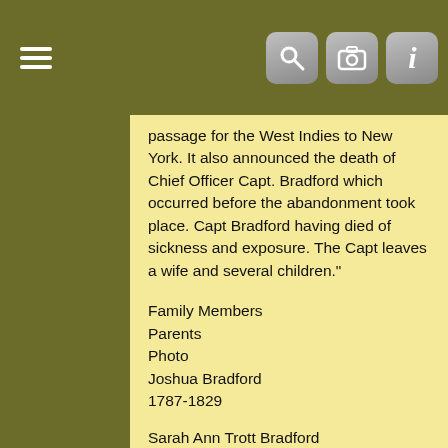passage for the West Indies to New York. It also announced the death of Chief Officer Capt. Bradford which occurred before the abandonment took place. Capt Bradford having died of sickness and exposure. The Capt leaves a wife and several children."
Family Members
Parents
Photo
Joshua Bradford
1787-1829
Sarah Ann Trott Bradford
1786-1858
Spouses
Mary Helen Cookson Bradford*
1827-1856
Frances Sophia Greenlaw Bradford*
1834-1903
Siblings
Susannah Bradford Nason*
1815-1894
Rachel Bradford Lawrence*
1817-1894